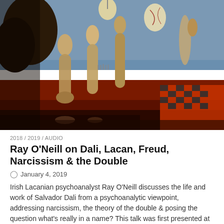[Figure (photo): A surrealist painting by Salvador Dali featuring elongated distorted figures in a dreamlike landscape with rich earthy tones, a checkered floor, and a dramatic sky.]
2018 / 2019 / AUDIO
Ray O'Neill on Dali, Lacan, Freud, Narcissism & the Double
January 4, 2019
Irish Lacanian psychoanalyst Ray O'Neill discusses the life and work of Salvador Dali from a psychoanalytic viewpoint, addressing narcissism, the theory of the double & posing the question what's really in a name? This talk was first presented at the Psychoanalysis, Art & the Occ...
[Figure (photo): A dark interior photo showing bookshelves in the background with a figure partially visible, warm library atmosphere.]